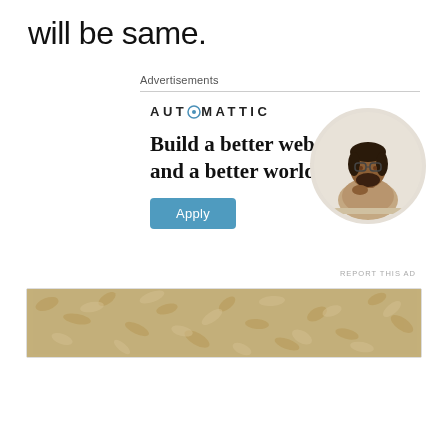will be same.
Advertisements
[Figure (illustration): Automattic advertisement banner with logo, headline 'Build a better web and a better world.', Apply button, and circular photo of a man thinking at a desk]
REPORT THIS AD
[Figure (photo): Close-up photo of food (appears to be pasta or similar textured food) on a surface]